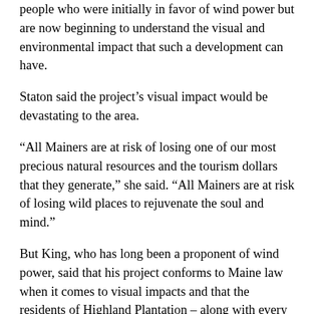people who were initially in favor of wind power but are now beginning to understand the visual and environmental impact that such a development can have.
Staton said the project’s visual impact would be devastating to the area.
“All Mainers are at risk of losing one of our most precious natural resources and the tourism dollars that they generate,” she said. “All Mainers are at risk of losing wild places to rejuvenate the soul and mind.”
But King, who has long been a proponent of wind power, said that his project conforms to Maine law when it comes to visual impacts and that the residents of Highland Plantation – along with every other Mainer – share the responsibility of hosting the nation’s energy infrastructure.
“You can’t analyze a project like this in isolation,” said King. “The power that we use – whether it’s electricity or heat or transportation – has to come from somewhere.